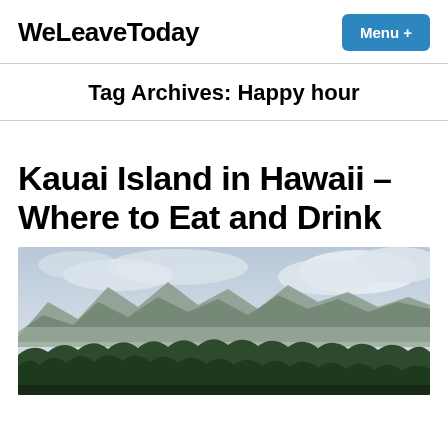WeLeaveToday
Tag Archives: Happy hour
Kauai Island in Hawaii – Where to Eat and Drink
[Figure (photo): Scenic landscape photo of Kauai island showing green tropical trees in the foreground and misty mountains with clouds in the background under an overcast sky.]